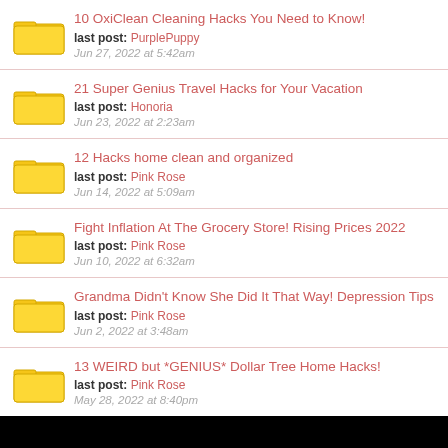10 OxiClean Cleaning Hacks You Need to Know! last post: PurplePuppy Jun 27, 2022 at 5:42am
21 Super Genius Travel Hacks for Your Vacation last post: Honoria Jun 23, 2022 at 2:23am
12 Hacks home clean and organized last post: Pink Rose Jun 14, 2022 at 5:09am
Fight Inflation At The Grocery Store! Rising Prices 2022 last post: Pink Rose Jun 10, 2022 at 6:32am
Grandma Didn't Know She Did It That Way! Depression Tips last post: Pink Rose Jun 2, 2022 at 3:48am
13 WEIRD but *GENIUS* Dollar Tree Home Hacks! last post: Pink Rose May 28, 2022 at 8:40pm